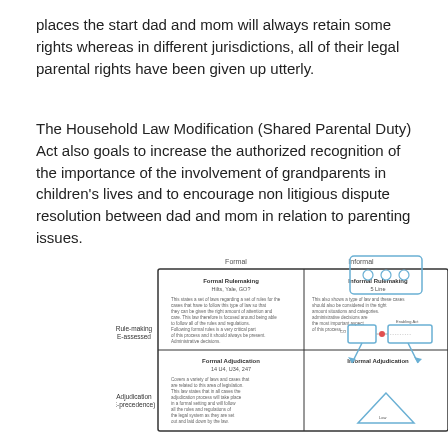places the start dad and mom will always retain some rights whereas in different jurisdictions, all of their legal parental rights have been given up utterly.
The Household Law Modification (Shared Parental Duty) Act also goals to increase the authorized recognition of the importance of the involvement of grandparents in children’s lives and to encourage non litigious dispute resolution between dad and mom in relation to parenting issues.
[Figure (other): A 2x2 grid diagram showing Formal vs Informal columns and Rule-making vs Adjudication rows, with labeled cells: Formal Rulemaking (Hilts, Yale, GO?), Informal Rulemaking (3 Line), Formal Adjudication (14 U4, U34, 247), Informal Adjudication. Row and column labels visible.]
[Figure (schematic): A small flowchart/schematic diagram on the right side showing boxes and a triangle connected by arrows, with labels like 'CO', 'Enabling Act'.]